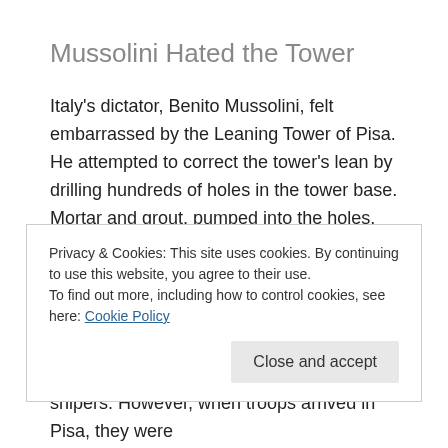Mussolini Hated the Tower
Italy's dictator, Benito Mussolini, felt embarrassed by the Leaning Tower of Pisa. He attempted to correct the tower's lean by drilling hundreds of holes in the tower base. Mortar and grout, pumped into the holes, was supposed to anchor the entire tower and straighten it. On the contrary, it only created a heavier base, which made the tower lean more than it did before.
Privacy & Cookies: This site uses cookies. By continuing to use this website, you agree to their use.
To find out more, including how to control cookies, see here: Cookie Policy
snipers. However, when troops arrived in Pisa, they were